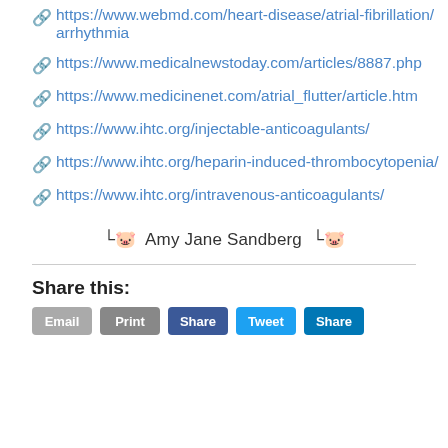🔗 https://www.webmd.com/heart-disease/atrial-fibrillation/arrhythmia
🔗 https://www.medicalnewstoday.com/articles/8887.php
🔗 https://www.medicinenet.com/atrial_flutter/article.htm
🔗 https://www.ihtc.org/injectable-anticoagulants/
🔗 https://www.ihtc.org/heparin-induced-thrombocytopenia/
🔗 https://www.ihtc.org/intravenous-anticoagulants/
⤷ Amy Jane Sandberg ⤷
Share this: